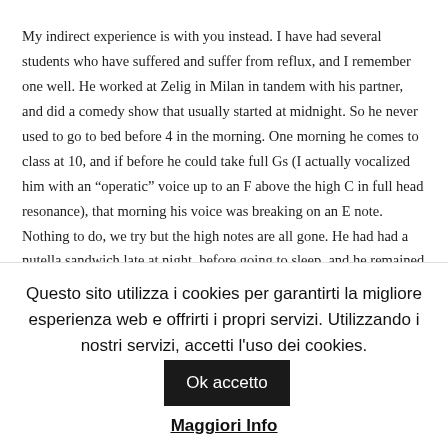My indirect experience is with you instead. I have had several students who have suffered and suffer from reflux, and I remember one well. He worked at Zelig in Milan in tandem with his partner, and did a comedy show that usually started at midnight. So he never used to go to bed before 4 in the morning. One morning he comes to class at 10, and if before he could take full Gs (I actually vocalized him with an “operatic” voice up to an F above the high C in full head resonance), that morning his voice was breaking on an E note. Nothing to do, we try but the high notes are all gone. He had had a nutella sandwich late at night, before going to sleep, and he remained with no high notes for at least a month.
Questo sito utilizza i cookies per garantirti la migliore esperienza web e offrirti i propri servizi. Utilizzando i nostri servizi, accetti l'uso dei cookies. Ok accetto
Maggiori Info